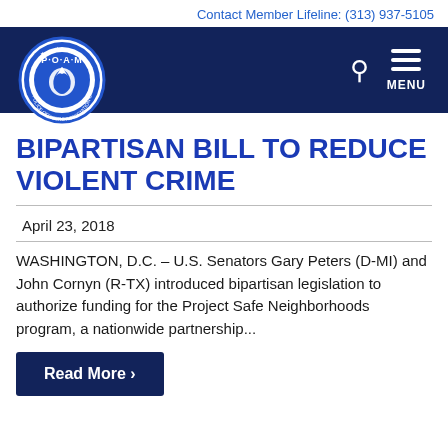Contact Member Lifeline: (313) 937-5105
[Figure (logo): POAM - Police Officers Association of Michigan circular badge logo in blue and white]
BIPARTISAN BILL TO REDUCE VIOLENT CRIME
April 23, 2018
WASHINGTON, D.C. – U.S. Senators Gary Peters (D-MI) and John Cornyn (R-TX) introduced bipartisan legislation to authorize funding for the Project Safe Neighborhoods program, a nationwide partnership...
Read More ›